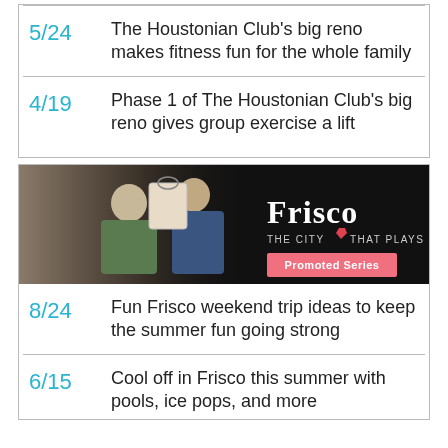5/24 The Houstonian Club's big reno makes fitness fun for the whole family
4/19 Phase 1 of The Houstonian Club's big reno gives group exercise a lift
[Figure (photo): Frisco - The City That Plays promotional banner with two women in a shop, Promoted Series button]
8/24 Fun Frisco weekend trip ideas to keep the summer fun going strong
6/15 Cool off in Frisco this summer with pools, ice pops, and more